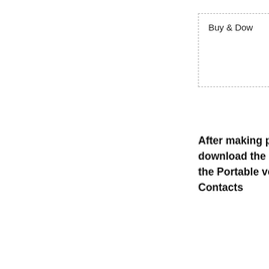Buy & Dow...
After making payment, download the installer or the Portable version of Contacts...